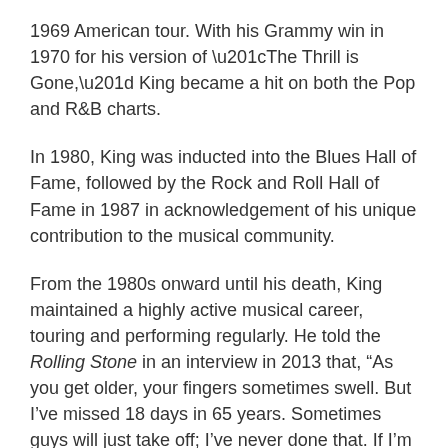1969 American tour. With his Grammy win in 1970 for his version of “The Thrill is Gone,” King became a hit on both the Pop and R&B charts.
In 1980, King was inducted into the Blues Hall of Fame, followed by the Rock and Roll Hall of Fame in 1987 in acknowledgement of his unique contribution to the musical community.
From the 1980s onward until his death, King maintained a highly active musical career, touring and performing regularly. He told the Rolling Stone in an interview in 2013 that, “As you get older, your fingers sometimes swell. But I’ve missed 18 days in 65 years. Sometimes guys will just take off; I’ve never done that. If I’m booked to play, I go and play.”
After the aforementioned tour cancellations and